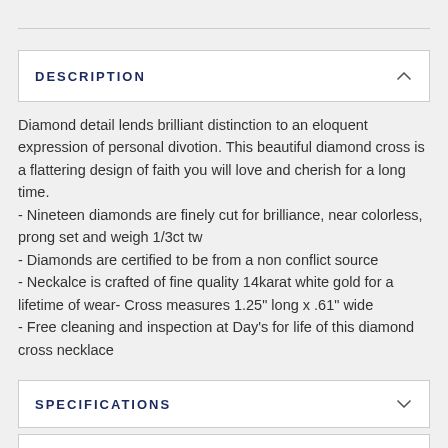DESCRIPTION
Diamond detail lends brilliant distinction to an eloquent expression of personal divotion. This beautiful diamond cross is a flattering design of faith you will love and cherish for a long time.
- Nineteen diamonds are finely cut for brilliance, near colorless, prong set and weigh 1/3ct tw
- Diamonds are certified to be from a non conflict source
- Neckalce is crafted of fine quality 14karat white gold for a lifetime of wear- Cross measures 1.25" long x .61" wide
- Free cleaning and inspection at Day's for life of this diamond cross necklace
SPECIFICATIONS